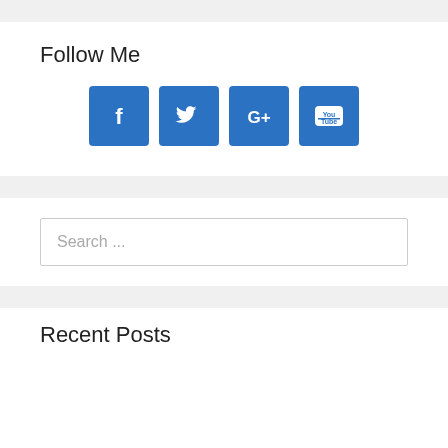Follow Me
[Figure (infographic): Four social media icon buttons: Facebook (f), Twitter (bird), Google+ (G+), YouTube (You Tube), all in blue square buttons]
Search ...
Recent Posts